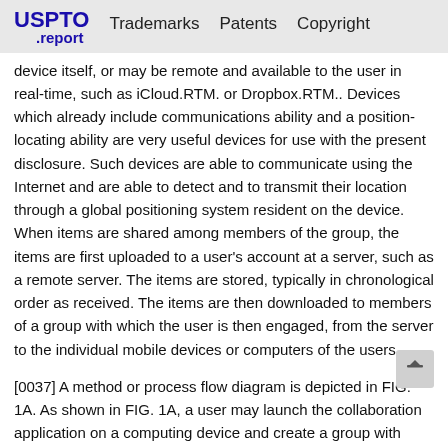USPTO .report   Trademarks   Patents   Copyright
device itself, or may be remote and available to the user in real-time, such as iCloud.RTM. or Dropbox.RTM.. Devices which already include communications ability and a position-locating ability are very useful devices for use with the present disclosure. Such devices are able to communicate using the Internet and are able to detect and to transmit their location through a global positioning system resident on the device. When items are shared among members of the group, the items are first uploaded to a user's account at a server, such as a remote server. The items are stored, typically in chronological order as received. The items are then downloaded to members of a group with which the user is then engaged, from the server to the individual mobile devices or computers of the users.
[0037] A method or process flow diagram is depicted in FIG. 1A. As shown in FIG. 1A, a user may launch the collaboration application on a computing device and create a group with